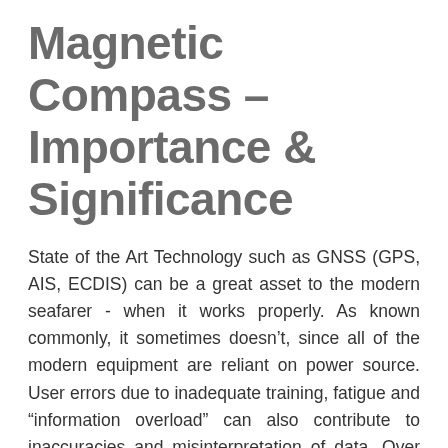Magnetic Compass – Importance & Significance
State of the Art Technology such as GNSS (GPS, AIS, ECDIS) can be a great asset to the modern seafarer - when it works properly. As known commonly, it sometimes doesn't, since all of the modern equipment are reliant on power source. User errors due to inadequate training, fatigue and "information overload" can also contribute to inaccuracies and misinterpretation of data. Over reliance on electronic navigation aids leads to complacency and sometimes to disaster.
In recent years, there have been numerous well